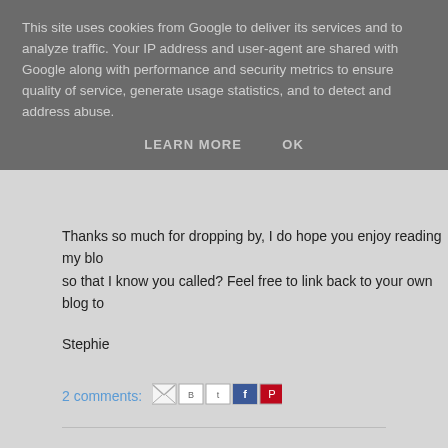This site uses cookies from Google to deliver its services and to analyze traffic. Your IP address and user-agent are shared with Google along with performance and security metrics to ensure quality of service, generate usage statistics, and to detect and address abuse.
LEARN MORE    OK
Thanks so much for dropping by, I do hope you enjoy reading my blo so that I know you called? Feel free to link back to your own blog to
Stephie
2 comments:
My community page www.facebook.com/